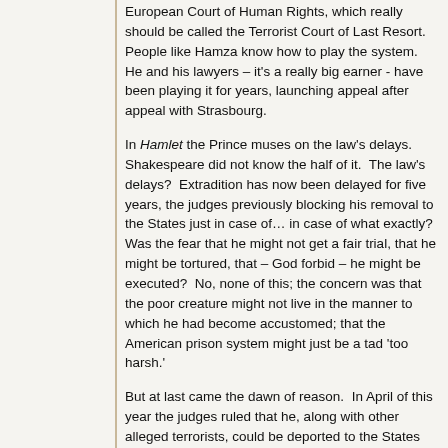European Court of Human Rights, which really should be called the Terrorist Court of Last Resort. People like Hamza know how to play the system. He and his lawyers – it's a really big earner - have been playing it for years, launching appeal after appeal with Strasbourg.
In Hamlet the Prince muses on the law's delays. Shakespeare did not know the half of it. The law's delays? Extradition has now been delayed for five years, the judges previously blocking his removal to the States just in case of… in case of what exactly? Was the fear that he might not get a fair trial, that he might be tortured, that – God forbid – he might be executed? No, none of this; the concern was that the poor creature might not live in the manner to which he had become accustomed; that the American prison system might just be a tad 'too harsh.'
But at last came the dawn of reason. In April of this year the judges ruled that he, along with other alleged terrorists, could be deported to the States because their facilities are better than our facilities. Hamza – thank goodness- would have access to all of the things that make life worthwhile, like television, a telephone, and arts and crafts.
Further text continues below...